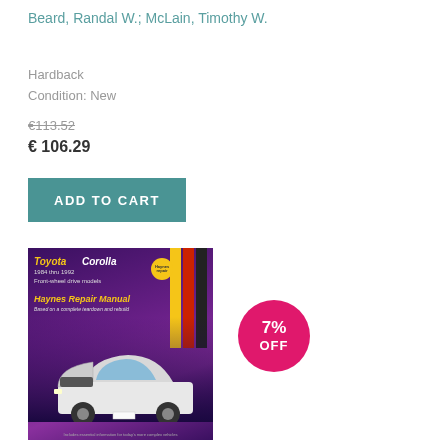Beard, Randal W.; McLain, Timothy W.
Hardback
Condition: New
€113.52
€ 106.29
ADD TO CART
[Figure (photo): Book cover of Toyota Corolla 1984 thru 1992 Front-wheel drive models Haynes Repair Manual, showing a white Toyota Corolla with hood open on a purple gradient background with yellow and red stripes]
7% OFF